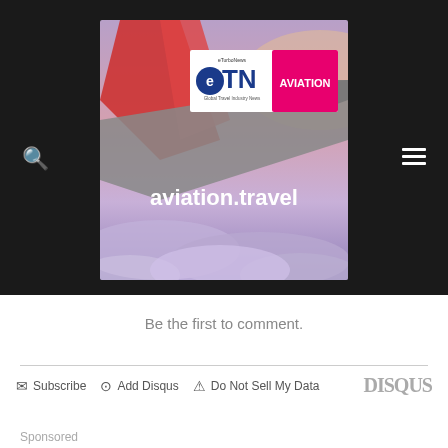[Figure (illustration): eTN Aviation travel website banner showing an airplane wing above clouds with eTN Global Travel Industry News logo and AVIATION pink label, with text 'aviation.travel' overlaid]
Be the first to comment.
Subscribe | Add Disqus | Do Not Sell My Data | DISQUS
Sponsored